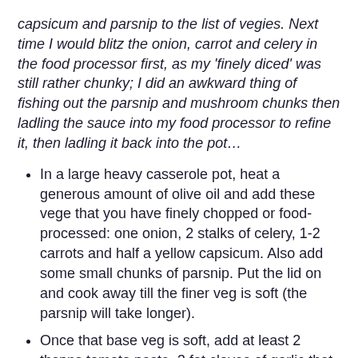capsicum and parsnip to the list of vegies. Next time I would blitz the onion, carrot and celery in the food processor first, as my 'finely diced' was still rather chunky; I did an awkward thing of fishing out the parsnip and mushroom chunks then ladling the sauce into my food processor to refine it, then ladling it back into the pot…
In a large heavy casserole pot, heat a generous amount of olive oil and add these vege that you have finely chopped or food-processed: one onion, 2 stalks of celery, 1-2 carrots and half a yellow capsicum. Also add some small chunks of parsnip. Put the lid on and cook away till the finer veg is soft (the parsnip will take longer).
Once that base veg is soft, add at least 2 tbspns tomato paste, 3 fat cloves of garlic that you've chopped or sliced, 150-175 gms mushrooms that you've chopped, and a good slosh of wine (I used white). Give it a good stir and pop the lid on to cook for a few more minutes.
Now add a tin of chopped tomatoes; then half-fill